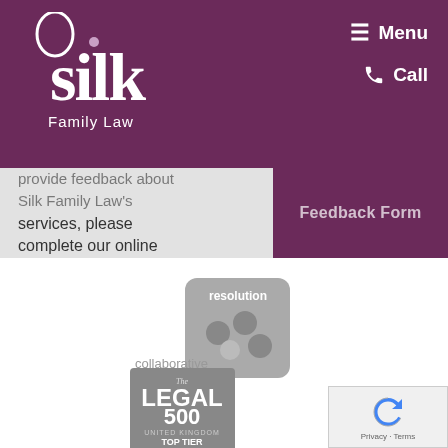Silk Family Law — Menu | Call
provide feedback about Silk Family Law's services, please complete our online form.
Feedback Form
[Figure (logo): Resolution Collaborative Family Lawyer logo — grey puzzle piece graphic with 'resolution' text and 'collaborative family lawyer' below]
[Figure (logo): The Legal 500 United Kingdom Top Tier 2017 badge — grey rectangular award badge]